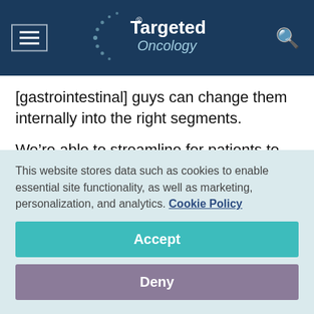Targeted Oncology
[gastrointestinal] guys can change them internally into the right segments.
We’re able to streamline for patients to eliminate the jaundice, the itching, the discomfort, etc, and lower the bilirubin to criteria that are, I think, acceptable for you—and most of the time in a manner that’s tube-free. This is clearly something that’s very important
This website stores data such as cookies to enable essential site functionality, as well as marketing, personalization, and analytics. Cookie Policy
Accept
Deny